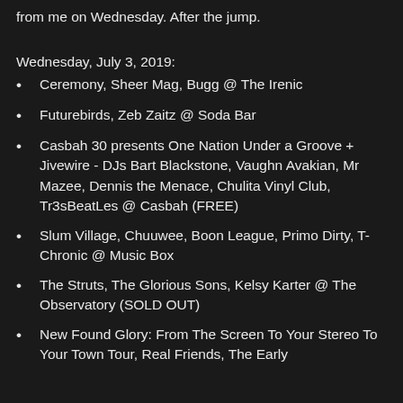from me on Wednesday. After the jump.
Wednesday, July 3, 2019:
Ceremony, Sheer Mag, Bugg @ The Irenic
Futurebirds, Zeb Zaitz @ Soda Bar
Casbah 30 presents One Nation Under a Groove + Jivewire - DJs Bart Blackstone, Vaughn Avakian, Mr Mazee, Dennis the Menace, Chulita Vinyl Club, Tr3sBeatLes @ Casbah (FREE)
Slum Village, Chuuwee, Boon League, Primo Dirty, T-Chronic @ Music Box
The Struts, The Glorious Sons, Kelsy Karter @ The Observatory (SOLD OUT)
New Found Glory: From The Screen To Your Stereo To Your Town Tour, Real Friends, The Early...